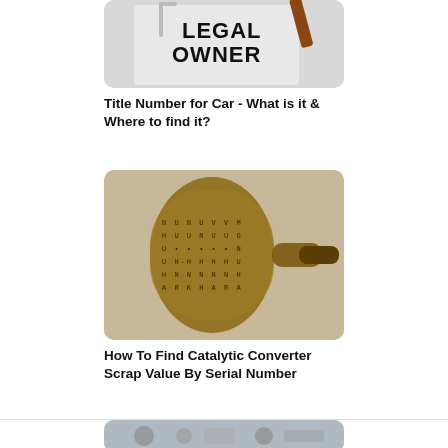[Figure (photo): A document with the text 'LEGAL OWNER' visible, with a paperclip and what appears to be a pen or pencil]
Title Number for Car - What is it & Where to find it?
[Figure (photo): A catalytic converter with a serial number stamped on it, showing rows of alphanumeric characters and dots]
How To Find Catalytic Converter Scrap Value By Serial Number
[Figure (photo): Partial view of mechanical/engine components, appears to be car parts]